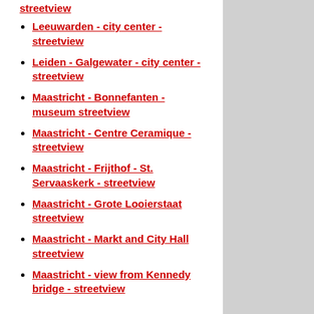streetview
Leeuwarden - city center - streetview
Leiden - Galgewater - city center - streetview
Maastricht - Bonnefanten - museum streetview
Maastricht - Centre Ceramique - streetview
Maastricht - Frijthof - St. Servaaskerk - streetview
Maastricht - Grote Looierstaat streetview
Maastricht - Markt and City Hall streetview
Maastricht - view from Kennedy bridge - streetview